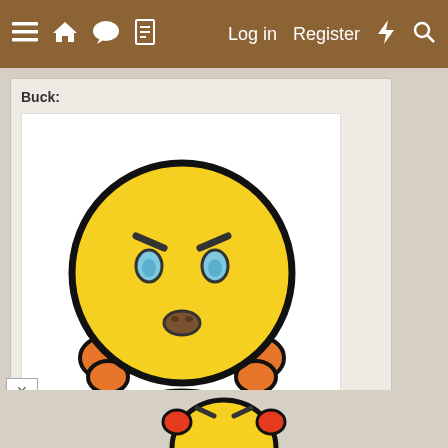≡ 🏠 💬 📄   Log in   Register ⚡ 🔍
Buck:
[Figure (illustration): Tinypic broken image placeholder: a sad yellow emoji character with red ear pieces and blue body/feet, above the 'tinypic' logo text, with message: 'This image is no longer available. Visit tinypic.com for more information.']
[Figure (illustration): Partial view of another tinypic broken image placeholder at the bottom of the page, showing only the top portion of the sad yellow emoji character.]